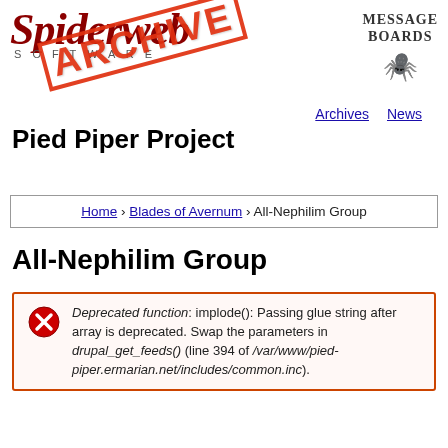[Figure (logo): Spiderweb Software logo with stylized gothic text and 'SOFTWARE' subtitle, overlaid with a red diagonal ARCHIVE stamp. To the right: MESSAGE BOARDS text with a spider icon.]
Archives   News
Pied Piper Project
Home › Blades of Avernum › All-Nephilim Group
All-Nephilim Group
Deprecated function: implode(): Passing glue string after array is deprecated. Swap the parameters in drupal_get_feeds() (line 394 of /var/www/pied-piper.ermarian.net/includes/common.inc).